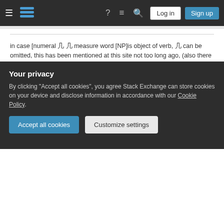[Figure (screenshot): Stack Exchange navigation bar with hamburger menu, logo, help icon, chat icon, search icon, Log in and Sign up buttons on dark background]
in case [numeral 几 几 measure word [NP]is object of verb, 几 can be omitted, this has been mentioned at this site not too long ago, (also there are exceptions if prosody is violated, which has also been mentioned), in the meaning "several" it appears 几 cannot be omitted from 买几张 find many samples with 买了几张 at jukuu, (it could refer to (many people) buying lottery tickets, trying their luck in the lottery) – user6065 Aug 21, 2017 at 16:52
search with "omitting 几" yields chinese.stackexchange.com/questions/24268/... note i.e. comments #1,2 – user6065 Aug 21, 2017 at 17:13
Your privacy
By clicking "Accept all cookies", you agree Stack Exchange can store cookies on your device and disclose information in accordance with our Cookie Policy.
Accept all cookies
Customize settings
17:20